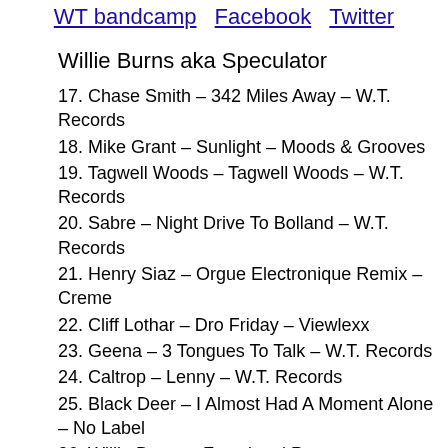WT bandcamp   Facebook   Twitter
Willie Burns aka Speculator
17. Chase Smith – 342 Miles Away – W.T. Records
18. Mike Grant – Sunlight – Moods & Grooves
19. Tagwell Woods – Tagwell Woods – W.T. Records
20. Sabre – Night Drive To Bolland – W.T. Records
21. Henry Siaz – Orgue Electronique Remix – Creme
22. Cliff Lothar – Dro Friday – Viewlexx
23. Geena – 3 Tongues To Talk – W.T. Records
24. Caltrop – Lenny – W.T. Records
25. Black Deer – I Almost Had A Moment Alone – No Label
26. Willie Burns – Functional Pause...